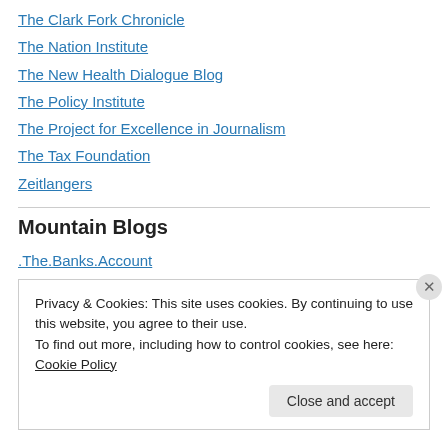The Clark Fork Chronicle
The Nation Institute
The New Health Dialogue Blog
The Policy Institute
The Project for Excellence in Journalism
The Tax Foundation
Zeitlangers
Mountain Blogs
.The.Banks.Account
2nd Grade Bike Rack
Privacy & Cookies: This site uses cookies. By continuing to use this website, you agree to their use.
To find out more, including how to control cookies, see here: Cookie Policy